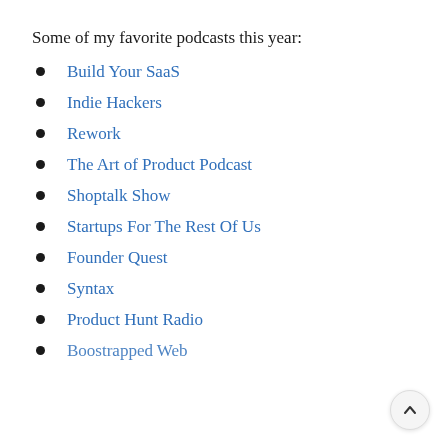Some of my favorite podcasts this year:
Build Your SaaS
Indie Hackers
Rework
The Art of Product Podcast
Shoptalk Show
Startups For The Rest Of Us
Founder Quest
Syntax
Product Hunt Radio
Bootstrapped Web